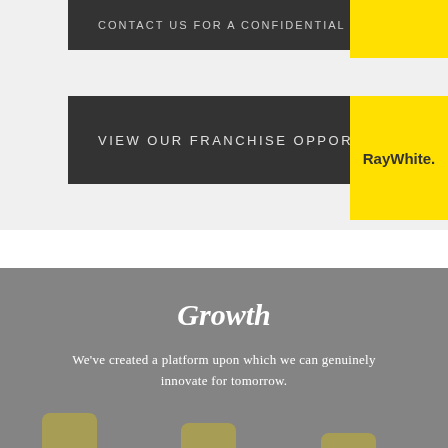CONTACT US FOR A CONFIDENTIAL DISCUSSION
VIEW OUR FRANCHISE OPPORTUNITIES
[Figure (logo): Ray White logo in yellow block]
Growth
We've created a platform upon which we can genuinely innovate for tomorrow.